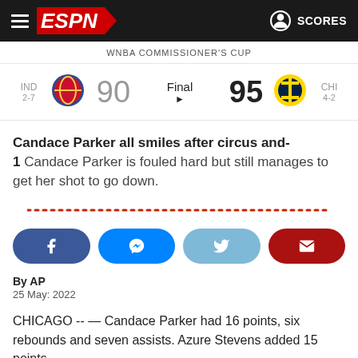ESPN — SCORES
WNBA COMMISSIONER'S CUP
| Team | Score | Status | Score | Team |
| --- | --- | --- | --- | --- |
| IND 2-7 | 90 | Final | 95 | CHI 4-2 |
Candace Parker all smiles after circus and-1 Candace Parker is fouled hard but still manages to get her shot to go down.
[Figure (infographic): Dotted red divider line]
[Figure (infographic): Social share buttons: Facebook, Messenger, Twitter, Email]
By AP
25 May: 2022
CHICAGO -- — Candace Parker had 16 points, six rebounds and seven assists. Azure Stevens added 15 points